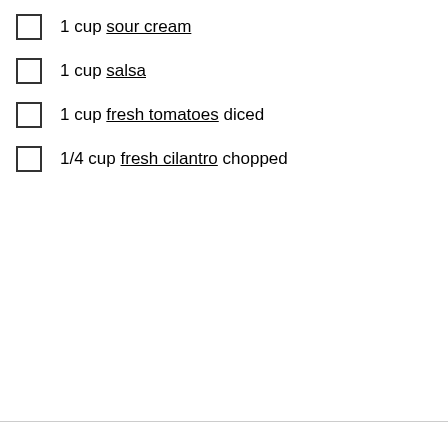1 cup sour cream
1 cup salsa
1 cup fresh tomatoes diced
1/4 cup fresh cilantro chopped